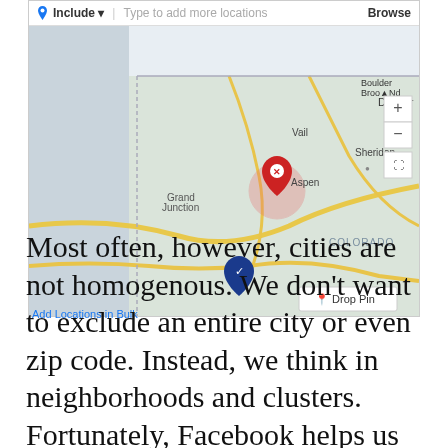[Figure (screenshot): Facebook Ads Manager location targeting map UI showing Colorado region with a red excluded pin near Aspen and a blue included pin south of it. Map controls include Include dropdown, Browse button, zoom in/out, and Drop Pin option.]
Add Locations in Bulk
Most often, however, cities are not homogenous. We don't want to exclude an entire city or even zip code. Instead, we think in neighborhoods and clusters. Fortunately, Facebook helps us here as well.